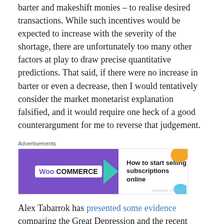barter and makeshift monies – to realise desired transactions. While such incentives would be expected to increase with the severity of the shortage, there are unfortunately too many other factors at play to draw precise quantitative predictions. That said, if there were no increase in barter or even a decrease, then I would tentatively consider the market monetarist explanation falsified, and it would require one heck of a good counterargument for me to reverse that judgement.
[Figure (other): WooCommerce advertisement banner: purple left panel with WooCommerce logo and teal arrow, white right panel with text 'How to start selling subscriptions online', orange and blue decorative shapes in top-right corner.]
Alex Tabarrok has presented some evidence comparing the Great Depression and the recent recession. Evidence that barter and makeshift monies increased during the Great Depression is very strong–market monetarism